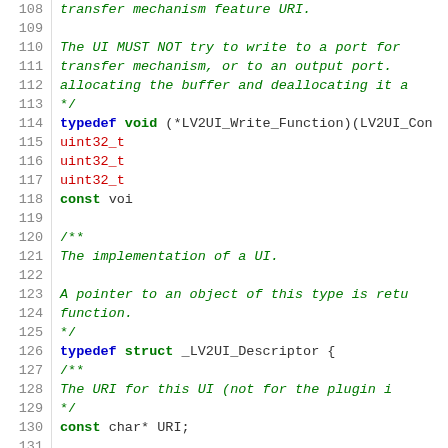Code listing lines 108-137: C typedef and struct definitions for LV2UI_Write_Function and _LV2UI_Descriptor with comments